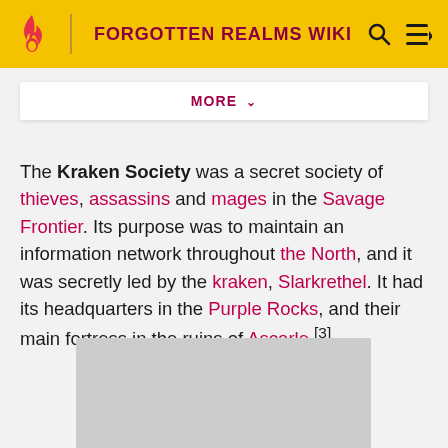FORGOTTEN REALMS WIKI
MORE
The Kraken Society was a secret society of thieves, assassins and mages in the Savage Frontier. Its purpose was to maintain an information network throughout the North, and it was secretly led by the kraken, Slarkrethel. It had its headquarters in the Purple Rocks, and their main fortress in the ruins of Ascarle.[3]
[Figure (photo): Gray placeholder image at the bottom of the page]